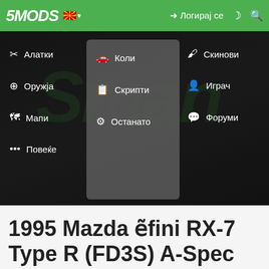5MODS | Логирај се
[Figure (screenshot): 5MODS website navigation menu with dropdown showing categories: Алатки, Оружја, Мапи, Повеќе (left column), Коли, Скрипти, Останато (middle column, highlighted), Скинови, Играч, Форуми (right column), over a dark background with green logo letters]
1995 Mazda ẽfini RX-7 Type R (FD3S) A-Spec [Add-On | RHD] 1.1